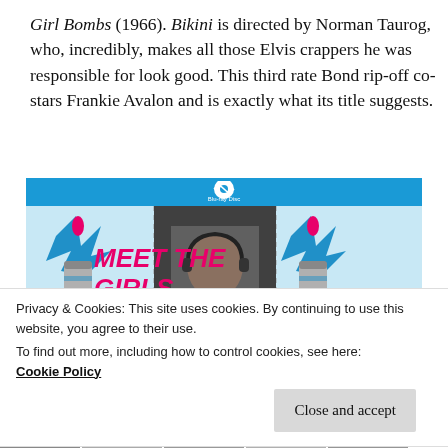Girl Bombs (1966). Bikini is directed by Norman Taurog, who, incredibly, makes all those Elvis crappers he was responsible for look good. This third rate Bond rip-off co-stars Frankie Avalon and is exactly what its title suggests.
[Figure (photo): Blu-ray disc cover art for a 1960s spy film 'Meet the Girls with the Thermo-Nuclear...' with pink bold italic title text on a blue and white background with stylized rocket/bomb graphics and film stills.]
Privacy & Cookies: This site uses cookies. By continuing to use this website, you agree to their use.
To find out more, including how to control cookies, see here:
Cookie Policy
Close and accept